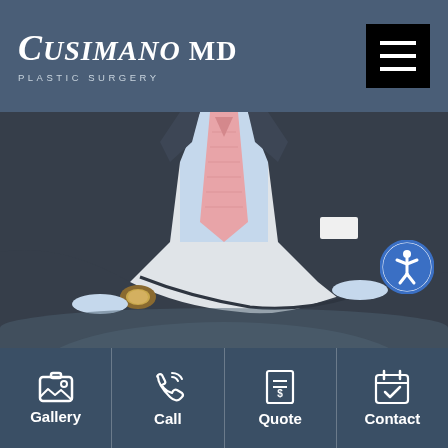Cusimano MD Plastic Surgery
[Figure (photo): Headless torso of a man in a dark suit with arms crossed, wearing a pink tie and light blue dress shirt, with a white pocket square. Professional medical practice photo.]
Gallery | Call | Quote | Contact